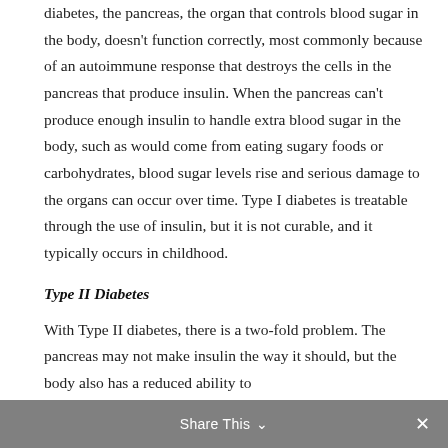diabetes, the pancreas, the organ that controls blood sugar in the body, doesn't function correctly, most commonly because of an autoimmune response that destroys the cells in the pancreas that produce insulin. When the pancreas can't produce enough insulin to handle extra blood sugar in the body, such as would come from eating sugary foods or carbohydrates, blood sugar levels rise and serious damage to the organs can occur over time. Type I diabetes is treatable through the use of insulin, but it is not curable, and it typically occurs in childhood.
Type II Diabetes
With Type II diabetes, there is a two-fold problem. The pancreas may not make insulin the way it should, but the body also has a reduced ability to